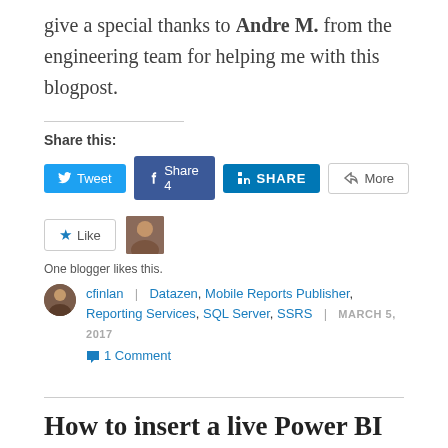give a special thanks to Andre M. from the engineering team for helping me with this blogpost.
Share this:
[Figure (infographic): Social sharing buttons: Tweet (Twitter), Share 4 (Facebook), SHARE (LinkedIn), More]
[Figure (infographic): Like button with star icon and blogger avatar thumbnail]
One blogger likes this.
cfinlan | Datazen, Mobile Reports Publisher, Reporting Services, SQL Server, SSRS | MARCH 5, 2017
1 Comment
How to insert a live Power BI